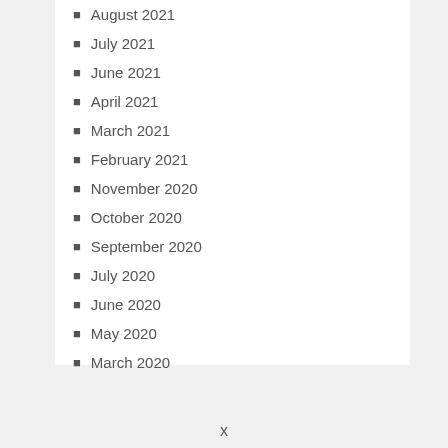August 2021
July 2021
June 2021
April 2021
March 2021
February 2021
November 2020
October 2020
September 2020
July 2020
June 2020
May 2020
March 2020
x